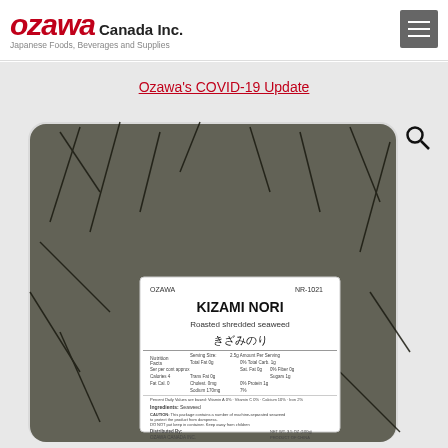[Figure (logo): Ozawa Canada Inc. logo with red italic 'ozawa' text and 'Canada Inc.' beside it, with tagline 'Japanese Foods, Beverages and Supplies']
Ozawa's COVID-19 Update
[Figure (photo): Product photo of Kizami Nori (Roasted shredded seaweed) packaged in a clear bag with a label showing OZAWA NR-1021, product name in English and Japanese (きざみのり), nutrition facts, ingredients, and distributed by OZAWA CANADA INC. Net wt. 3.5 OZ (100g). Product of China.]